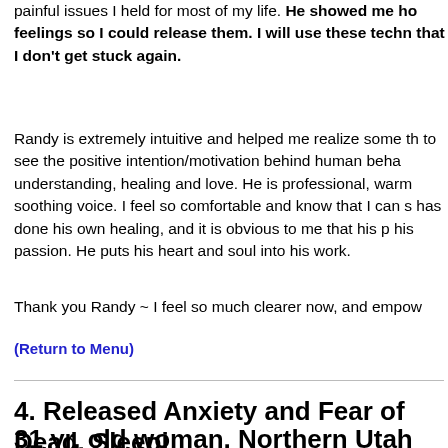painful issues I held for most of my life. He showed me ho feelings so I could release them. I will use these techn that I don't get stuck again.
Randy is extremely intuitive and helped me realize some th to see the positive intention/motivation behind human beha understanding, healing and love. He is professional, warm soothing voice. I feel so comfortable and know that I can s has done his own healing, and it is obvious to me that his p his passion. He puts his heart and soul into his work.
Thank you Randy ~ I feel so much clearer now, and empow
(Return to Menu)
4. Released Anxiety and Fear of Dead, Sleepi
31 yr. old woman, Northern Utah